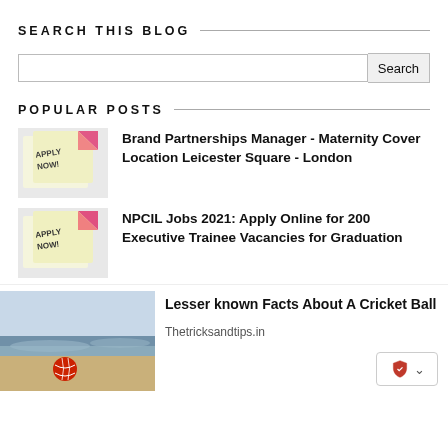SEARCH THIS BLOG
Search
POPULAR POSTS
[Figure (photo): Apply Now sticky notes image]
Brand Partnerships Manager - Maternity Cover Location Leicester Square - London
[Figure (photo): Apply Now sticky notes image]
NPCIL Jobs 2021: Apply Online for 200 Executive Trainee Vacancies for Graduation
[Figure (photo): Cricket ball on beach]
Lesser known Facts About A Cricket Ball
Thetricksandtips.in